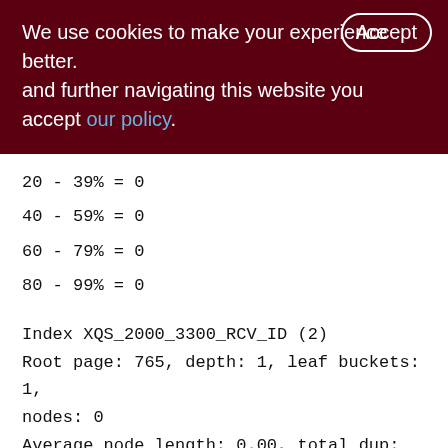We use cookies to make your experience better. By accepting and further navigating this website you accept our policy.
20 - 39% = 0
40 - 59% = 0
60 - 79% = 0
80 - 99% = 0
Index XQS_2000_3300_RCV_ID (2)
Root page: 765, depth: 1, leaf buckets: 1, nodes: 0
Average node length: 0.00, total dup: 0, max dup: 0
Average key length: 0.00, compression ratio: 0.00